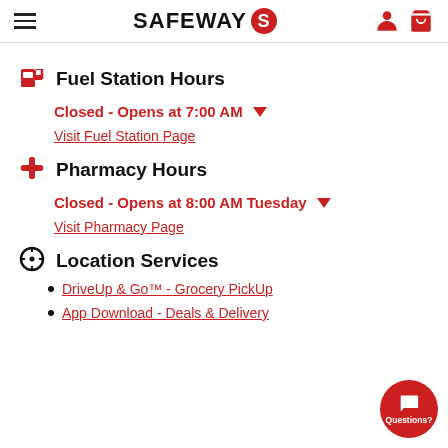Safeway — navigation header with hamburger menu, logo, user and cart icons
Fuel Station Hours
Closed - Opens at 7:00 AM
Visit Fuel Station Page
Pharmacy Hours
Closed - Opens at 8:00 AM Tuesday
Visit Pharmacy Page
Location Services
DriveUp & Go™ - Grocery PickUp
App Download - Deals & Delivery